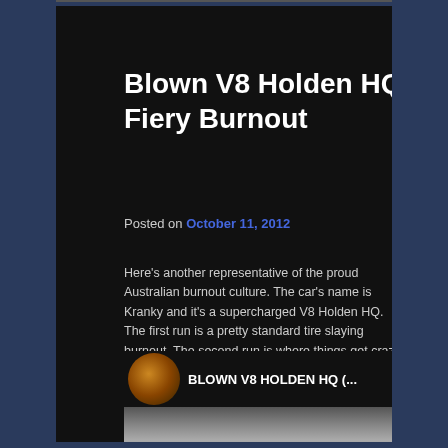Blown V8 Holden HQ Fiery Burnout
Posted on October 11, 2012
Here’s another representative of the proud Australian burnout culture. The car’s name is Kranky and it’s a supercharged V8 Holden HQ. The first run is a pretty standard tire slaying burnout. The second run is where things get crazy. I’m guessing they have some sort of fuel spray in the exhaust because there is a giant firestorm as soon as the burnout starts. The entire backdrop starts burning while the guys continue on their run.
[Figure (screenshot): YouTube video thumbnail showing BLOWN V8 HOLDEN HQ (... with channel icon and three-dot menu]